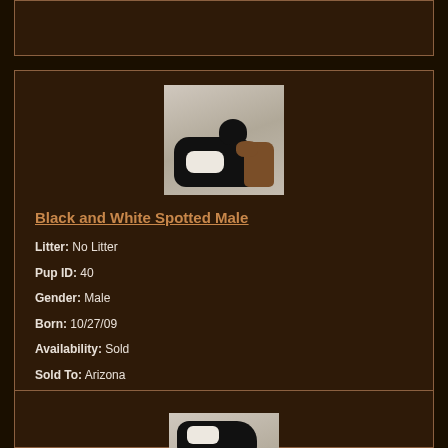[Figure (photo): Partially visible card section at top of page, cropped beagle/hound dog photo area]
[Figure (photo): Black and white spotted beagle/hound puppy playing in snow, carrying an object in its mouth]
Black and White Spotted Male
Litter: No Litter
Pup ID: 40
Gender: Male
Born: 10/27/09
Availability: Sold
Sold To: Arizona
[Figure (photo): Partially visible bottom card with another dog photo, cropped at page bottom]